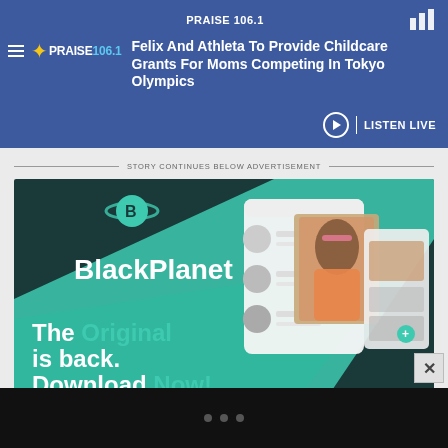PRAISE 106.1 — Felix And Athleta To Provide Childcare Grants For Moms Competing In Tokyo Olympics | LISTEN LIVE
STORY CONTINUES BELOW ADVERTISEMENT
[Figure (screenshot): BlackPlanet advertisement: dark teal background with phone app screenshots showing social network profiles. Text reads 'BlackPlanet' with logo, 'The Original is back. Download Now!' with App Store and Google Play download buttons.]